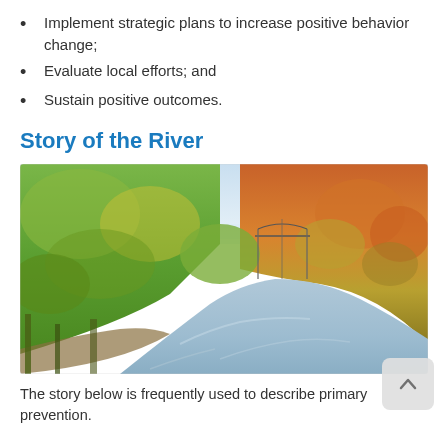Implement strategic plans to increase positive behavior change;
Evaluate local efforts; and
Sustain positive outcomes.
Story of the River
[Figure (photo): Aerial view of a river winding through autumn forest with a bridge in the background. Trees display fall foliage in green, yellow, orange, and red colors. The river reflects the sky.]
The story below is frequently used to describe primary prevention.